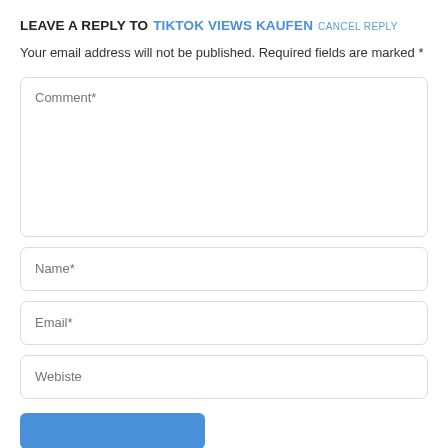LEAVE A REPLY TO TIKTOK VIEWS KAUFEN CANCEL REPLY
Your email address will not be published. Required fields are marked *